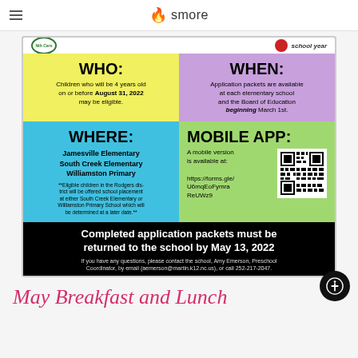smore
[Figure (infographic): Preschool enrollment flyer with four colored quadrants: WHO (yellow), WHEN (purple), WHERE (cyan), MOBILE APP (green), and a black bottom bar with application deadline information.]
May Breakfast and Lunch